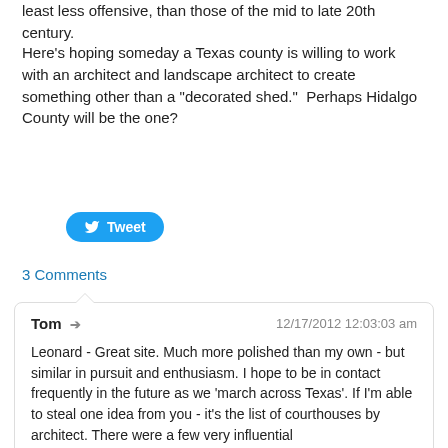least less offensive, than those of the mid to late 20th century.
Here's hoping someday a Texas county is willing to work with an architect and landscape architect to create something other than a "decorated shed."  Perhaps Hidalgo County will be the one?
[Figure (other): Tweet button (Twitter/X share button)]
3 Comments
Tom ➔  12/17/2012 12:03:03 am

Leonard - Great site. Much more polished than my own - but similar in pursuit and enthusiasm. I hope to be in contact frequently in the future as we 'march across Texas'. If I'm able to steal one idea from you - it's the list of courthouses by architect. There were a few very influential architects/architectural firms in Texas courthouse history and they deserve the be singled out.

You point on mid - late 20th century courthouses is well taken. I have to say, the most disappointing courthouses have been from that period (Aransas, Angelina, Nacogdoches, etc.). The